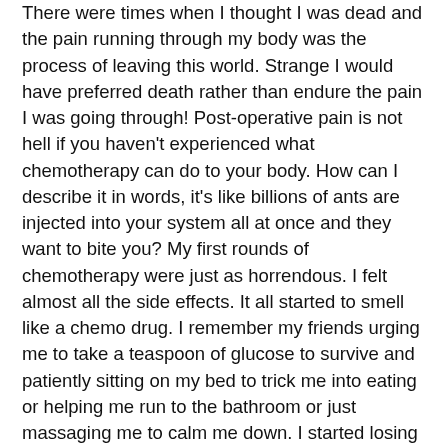There were times when I thought I was dead and the pain running through my body was the process of leaving this world. Strange I would have preferred death rather than endure the pain I was going through! Post-operative pain is not hell if you haven't experienced what chemotherapy can do to your body. How can I describe it in words, it's like billions of ants are injected into your system all at once and they want to bite you? My first rounds of chemotherapy were just as horrendous. I felt almost all the side effects. It all started to smell like a chemo drug. I remember my friends urging me to take a teaspoon of glucose to survive and patiently sitting on my bed to trick me into eating or helping me run to the bathroom or just massaging me to calm me down. I started losing hair in the second round of chemo and that made me walk to the hair salon and get my head shaved. I came out bald! I was now, in the words of a friend, an enlightened Buddha!
I had to switch to a new chemotherapy drug which was expensive but with fewer side effects. I received three cycles of this new therapy, each cycle consisted of three cycles of chemotherapy.